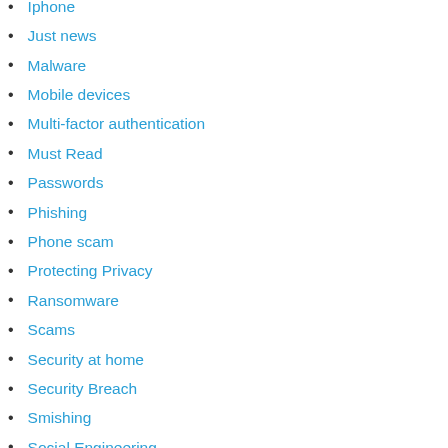Iphone
Just news
Malware
Mobile devices
Multi-factor authentication
Must Read
Passwords
Phishing
Phone scam
Protecting Privacy
Ransomware
Scams
Security at home
Security Breach
Smishing
Social Engineering
Superhero of the week
Two-factor authentication
Uncategorized
Vishing